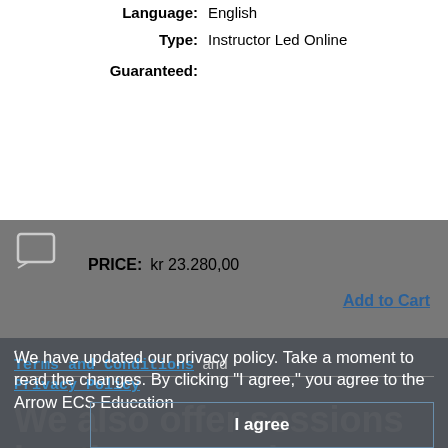Language: English
Type: Instructor Led Online
Guaranteed:
PRICE: kr 23.280,00
Add to Cart
. Terms and Conditions and Privacy Policy
We have updated our privacy policy. Take a moment to read the changes. By clicking "I agree," you agree to the Arrow ECS Education
We also offer sessions in other countries
I agree